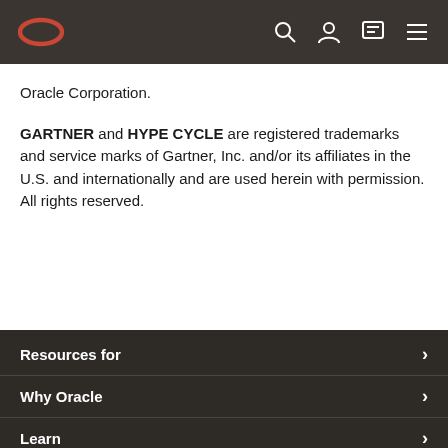Oracle navigation bar with logo and icons
Oracle Corporation.
GARTNER and HYPE CYCLE are registered trademarks and service marks of Gartner, Inc. and/or its affiliates in the U.S. and internationally and are used herein with permission. All rights reserved.
Resources for
Why Oracle
Learn